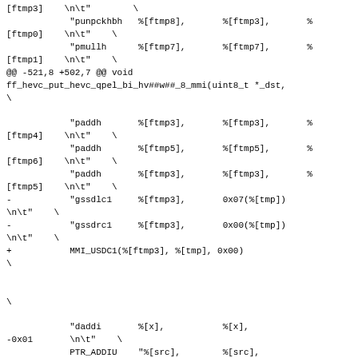Code diff showing assembly instruction changes in ff_hevc_put_hevc_qpel_bi_hv function, including replacements of gssdlc1/gssdrc1 with MMI_USDC1 macro, and surrounding paddh, daddi, PTR_ADDIU, PTR_ADDU instructions with register operands.